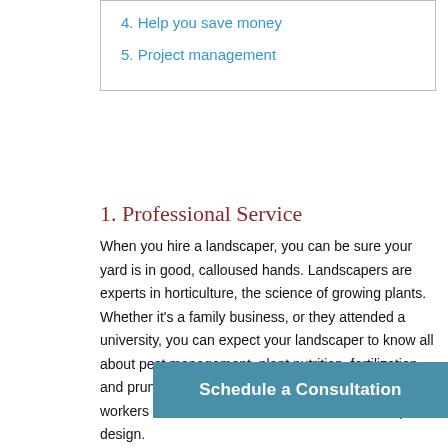4. Help you save money
5. Project management
1. Professional Service
When you hire a landscaper, you can be sure your yard is in good, calloused hands. Landscapers are experts in horticulture, the science of growing plants. Whether it's a family business, or they attended a university, you can expect your landscaper to know all about pest management, plant nutrition, fertilization, and pruning. A skilled provider will ensure their workers are trained in all areas linked to landscape design.
2. Time-saving
A beautiful yard is mood-boosting, but if you're a busy person, you may not have time to landscape. Or maybe you'd rather just instead of doing the hard labor yourself. DIY can be fun and satisfying, but if your perfect design includes
[Figure (other): Blue 'Schedule a Consultation' call-to-action button overlay]